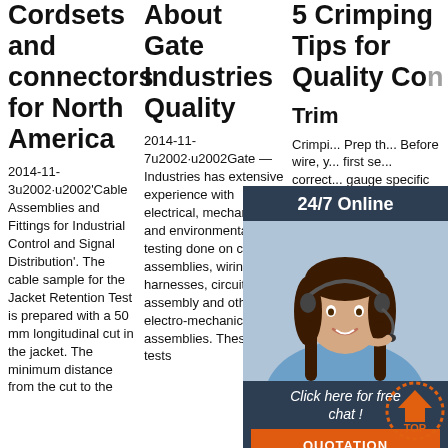Cordsets and connectors for North America
About Gate Industries Quality
5 Crimping Tips for Quality Co...
2014-11-3u2002·u2002'Cable Assemblies and Fittings for Industrial Control and Signal Distribution'. The cable sample for the Jacket Retention Test is prepared with a 50 mm longitudinal cut in the jacket. The minimum distance from the cut to the
2014-11-7u2002·u2002Gate Industries has extensive experience with electrical, mechanical and environmental testing done on cable assemblies, wiring harnesses, circuit card assembly and other electro-mechanical assemblies. These are tests
Trim

Crimpi... Prep th... Before wire, y... first se... correct... gauge specific length of insulation from the wire. Both the insulation and wire must be cut perpendicular to the...
[Figure (photo): Customer service representative woman with headset smiling, with 24/7 Online header and 'Click here for free chat!' text and QUOTATION button overlay widget]